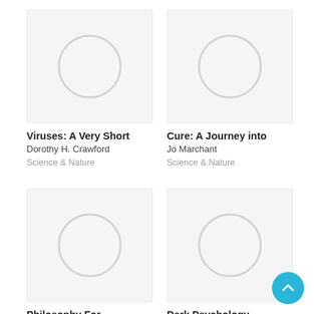[Figure (illustration): Book cover placeholder with light gray circle on white/light gray background for 'Viruses: A Very Short']
Viruses: A Very Short
Dorothy H. Crawford
Science & Nature
[Figure (illustration): Book cover placeholder with light gray circle on white/light gray background for 'Cure: A Journey into']
Cure: A Journey into
Jo Marchant
Science & Nature
[Figure (illustration): Book cover placeholder with light gray circle on white/light gray background for 'Philosophy For']
Philosophy For
Tom Morris PhD
Science & Nature
[Figure (illustration): Book cover placeholder with light gray circle on white/light gray background for 'Dark Psychology']
Dark Psychology
Mark Panic
Science & Nature